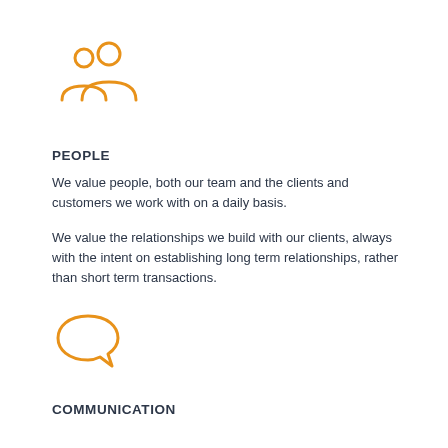[Figure (illustration): Orange outline icon of two people (group/team icon)]
PEOPLE
We value people, both our team and the clients and customers we work with on a daily basis.
We value the relationships we build with our clients, always with the intent on establishing long term relationships, rather than short term transactions.
[Figure (illustration): Orange outline icon of a speech bubble (communication icon)]
COMMUNICATION